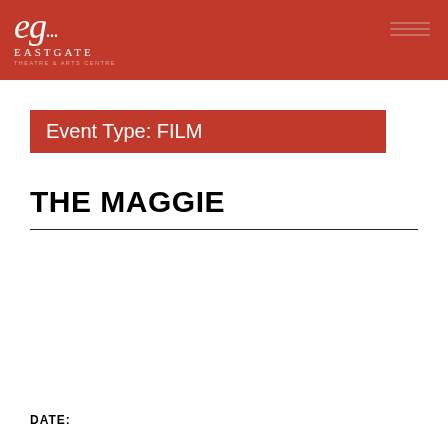eg... eastgate THEATRE & ARTS CENTRE
Event Type: FILM
THE MAGGIE
DATE: